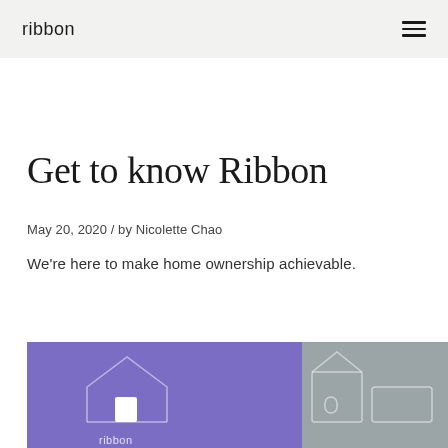ribbon
Get to know Ribbon
May 20, 2020  / by Nicolette Chao
We're here to make home ownership achievable.
[Figure (illustration): Ribbon branded illustration split into two panels: left purple panel with white outline of a house and ribbon logo text at bottom, right gray panel with white outline of a building/house shape]